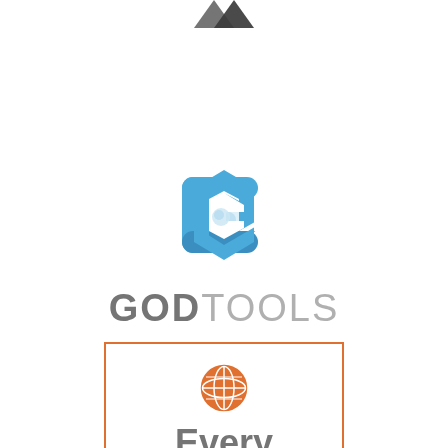[Figure (logo): Partial logo at top of page, cut off]
[Figure (logo): GodTools logo: stylized blue G hexagon icon above the wordmark GOD in bold gray and TOOLS in light gray]
[Figure (logo): Every Nation logo: orange globe icon inside an orange-bordered rectangle, with the word Every in gray below]